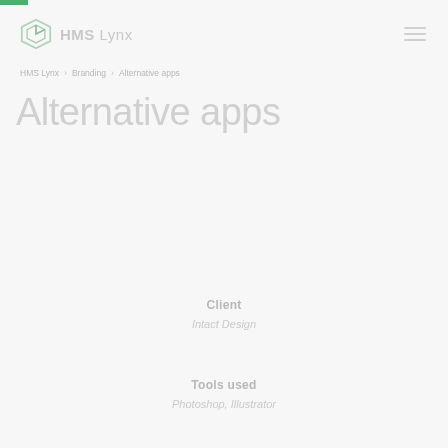HMS Lynx
HMS Lynx > Branding > Alternative apps
Alternative apps
Client
Intact Design
Tools used
Photoshop, Illustrator